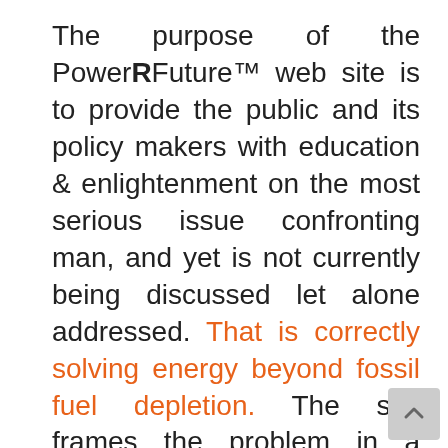The purpose of the PowerRFuture™ web site is to provide the public and its policy makers with education & enlightenment on the most serious issue confronting man, and yet is not currently being discussed let alone addressed. That is correctly solving energy beyond fossil fuel depletion. The site frames the problem in a manner no other site or institute has. We show how the AGW or climate change scare has driven the green energy industries and primarily solar based on tens of billions of dollars of subsidies and green energy philanthropic funds. We incontrovertibly show why solar, wind, biofuels and the like can only supply 4% of world energy requirements by 2050. We explain the energy solution...without